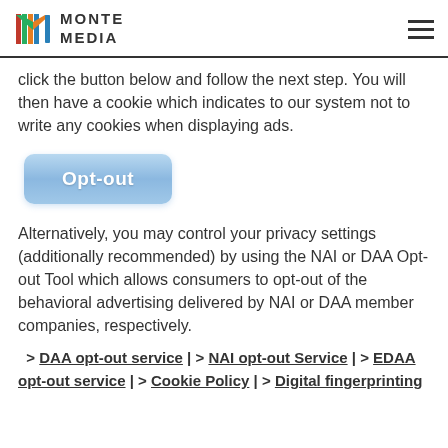MONTE MEDIA
click the button below and follow the next step. You will then have a cookie which indicates to our system not to write any cookies when displaying ads.
[Figure (other): Opt-out button (blue rounded rectangle with white text 'Opt-out')]
Alternatively, you may control your privacy settings (additionally recommended) by using the NAI or DAA Opt-out Tool which allows consumers to opt-out of the behavioral advertising delivered by NAI or DAA member companies, respectively.
> DAA opt-out service | > NAI opt-out Service | > EDAA opt-out service | > Cookie Policy | > Digital fingerprinting